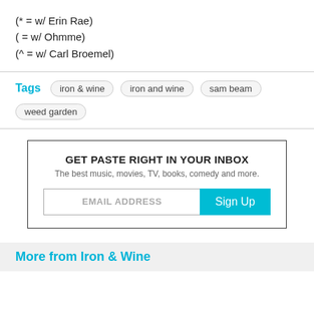(* = w/ Erin Rae)
( = w/ Ohmme)
(^ = w/ Carl Broemel)
Tags  iron & wine  iron and wine  sam beam  weed garden
GET PASTE RIGHT IN YOUR INBOX
The best music, movies, TV, books, comedy and more.
EMAL ADDRESS  Sign Up
More from Iron & Wine